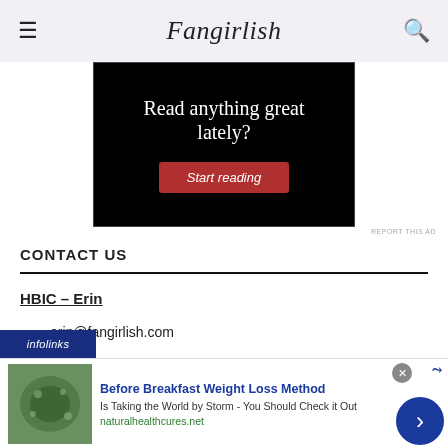Fangirlish
[Figure (screenshot): Black advertisement banner with white italic serif text 'Read anything great lately?' and a red 'Start reading' button]
REPORT THIS AD
CONTACT US
HBIC – Erin
erin@fangirlish.com
[Figure (screenshot): Infolinks advertisement bar with blue background and white italic text 'infolinks', followed by a white card ad: 'Before Breakfast Weight Loss Method - Is Taking the World by Storm - You Should Check it Out - naturalhealthcures.net' with a food image on the left and a blue arrow button on the right]